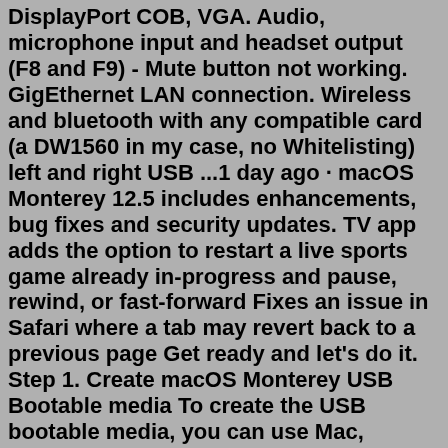DisplayPort COB, VGA. Audio, microphone input and headset output (F8 and F9) - Mute button not working. GigEthernet LAN connection. Wireless and bluetooth with any compatible card (a DW1560 in my case, no Whitelisting) left and right USB ...1 day ago · macOS Monterey 12.5 includes enhancements, bug fixes and security updates. TV app adds the option to restart a live sports game already in-progress and pause, rewind, or fast-forward Fixes an issue in Safari where a tab may revert back to a previous page Get ready and let's do it. Step 1. Create macOS Monterey USB Bootable media To create the USB bootable media, you can use Mac, Windows or Linux system. Please refers to our previous guide below: Create macOS Monterey USB Bootable on Mac Create macOS Monterey USB Media on Windows 10 Step 2. Configure EFIJul 06, 2021 · Ecco come installare macOS Monterey su un normale PC e non su MacBook. macOS 12 conosciuto anche come macOS Monterey è stato annunciato da Apple al WWDC 2021. macOS Monterey supporta due architetture